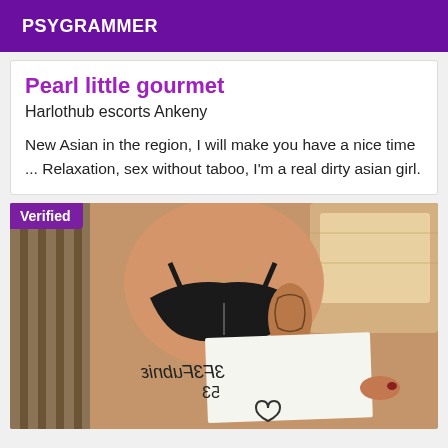PSYGRAMMER
Pearl little gourmet
Harlothub escorts Ankeny
New Asian in the region, I will make you have a nice time ... Relaxation, sex without taboo, I'm a real dirty asian girl.
[Figure (photo): Verified escort photo showing a woman in black lingerie sitting on a bed holding a handwritten sign with mirrored text and a heart drawing.]